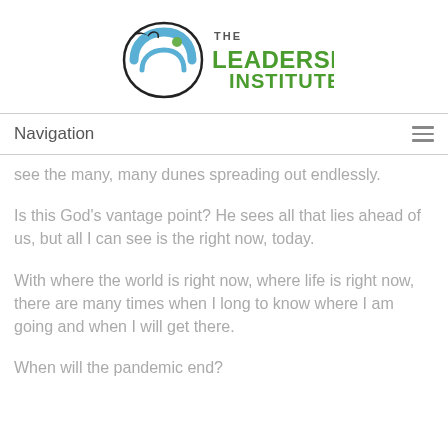[Figure (logo): The Leadership Institute logo with circular bird/wave graphic and green text]
Navigation
see the many, many dunes spreading out endlessly.
Is this God’s vantage point? He sees all that lies ahead of us, but all I can see is the right now, today.
With where the world is right now, where life is right now, there are many times when I long to know where I am going and when I will get there.
When will the pandemic end?